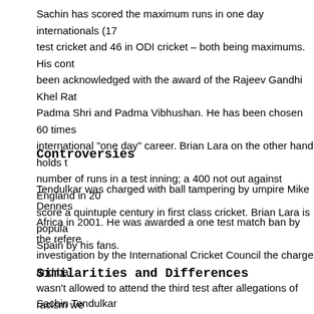Sachin has scored the maximum runs in one day internationals (17... test cricket and 46 in ODI cricket – both being maximums. His cont... been acknowledged with the award of the Rajeev Gandhi Khel Rat... Padma Shri and Padma Vibhushan. He has been chosen 60 times ... international "one day" career. Brian Lara on the other hand holds t... number of runs in a test inning; a 400 not out against England in 20... score a quintuple century in first class cricket. Brian Lara is popula... Spain by his fans.
Controversies
Tendulkar was charged with ball tampering by umpire Mike Dennes... Africa in 2001. He was awarded a one test match ban by the refere... investigation by the International Cricket Council the charge and ba... wasn't allowed to attend the third test after allegations of racism we... Lara asked Dhoni to walk off the field as his fielder assured him tha... boundary but the replays were inconclusive as to whether the fielde... Lara was called by the referee and was asked for an explanation o...
Similarities and Differences
Sachin Tendulkar